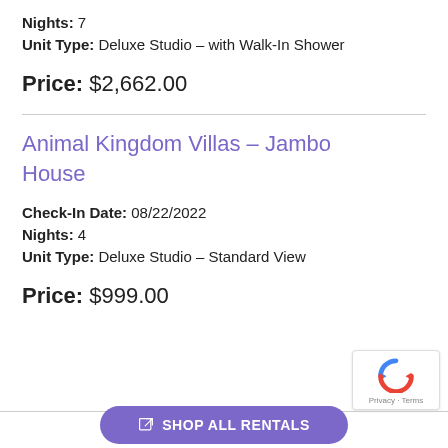Nights: 7
Unit Type: Deluxe Studio – with Walk-In Shower
Price: $2,662.00
Animal Kingdom Villas – Jambo House
Check-In Date: 08/22/2022
Nights: 4
Unit Type: Deluxe Studio – Standard View
Price: $999.00
SHOP ALL RENTALS